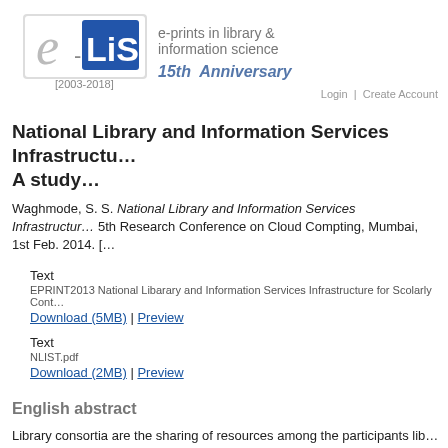[Figure (logo): e-LiS logo with italic e, blue LiS box, tagline 'e-prints in library & information science', '[2003-2018]' and '15th Anniversary']
Login | Create Account
National Library and Information Services Infrastructu… A study…
Waghmode, S. S. National Library and Information Services Infrastructur… 5th Research Conference on Cloud Compting, Mumbai, 1st Feb. 2014. […
Text
EPRINT2013 National Libarary and Information Services Infrastructure for Scolarly Cont…
Download (5MB) | Preview
Text
NLIST.pdf
Download (2MB) | Preview
English abstract
Library consortia are the sharing of resources among the participants lib…